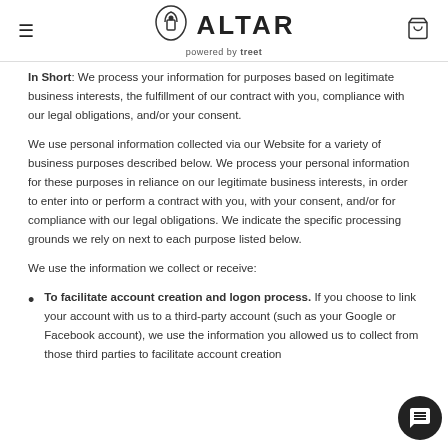ALTAR powered by treet
In Short: We process your information for purposes based on legitimate business interests, the fulfillment of our contract with you, compliance with our legal obligations, and/or your consent.
We use personal information collected via our Website for a variety of business purposes described below. We process your personal information for these purposes in reliance on our legitimate business interests, in order to enter into or perform a contract with you, with your consent, and/or for compliance with our legal obligations. We indicate the specific processing grounds we rely on next to each purpose listed below.
We use the information we collect or receive:
To facilitate account creation and logon process. If you choose to link your account with us to a third-party account (such as your Google or Facebook account), we use the information you allowed us to collect from those third parties to facilitate account creation